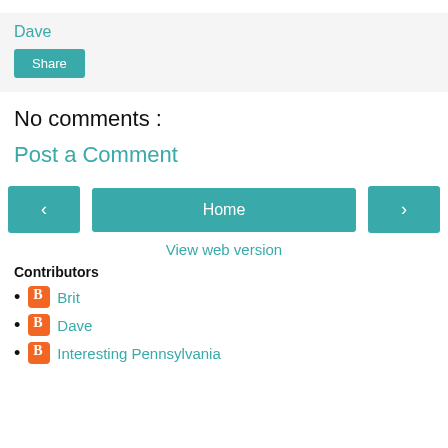Dave
Share
No comments :
Post a Comment
‹
Home
›
View web version
Contributors
Brit
Dave
Interesting Pennsylvania